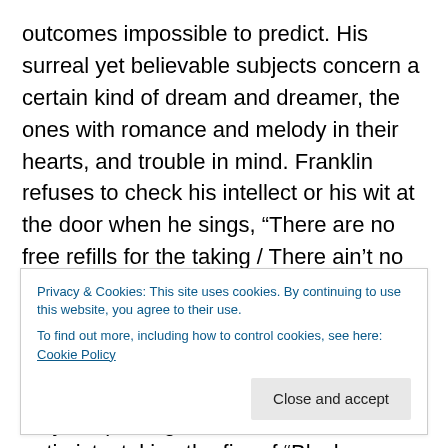outcomes impossible to predict. His surreal yet believable subjects concern a certain kind of dream and dreamer, the ones with romance and melody in their hearts, and trouble in mind. Franklin refuses to check his intellect or his wit at the door when he sings, “There are no free refills for the taking / There ain’t no four winds that blow strong,” as he does in “Dear Marianne,” an epic that speaks to the betrayal of the Americas, late 20th Century-style. And yet, riding side by side with his realist is a seeker and eternal optimist, stoking the fire of “Black Lightening.” To hear him sing “If you don’t see me tonight, I’m underneath the stars they’re spinning.
Privacy & Cookies: This site uses cookies. By continuing to use this website, you agree to their use.
To find out more, including how to control cookies, see here: Cookie Policy
Close and accept